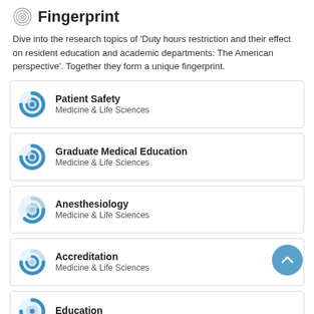Fingerprint
Dive into the research topics of 'Duty hours restriction and their effect on resident education and academic departments: The American perspective'. Together they form a unique fingerprint.
Patient Safety
Medicine & Life Sciences
Graduate Medical Education
Medicine & Life Sciences
Anesthesiology
Medicine & Life Sciences
Accreditation
Medicine & Life Sciences
Education